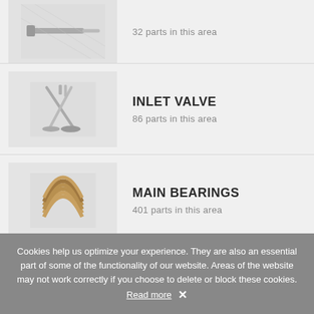[Figure (photo): Partial view of a metal rod/shaft part against a light grey background]
32 parts in this area
[Figure (photo): Inlet valves — two metal engine valves crossed, with stems and disc heads visible]
INLET VALVE
86 parts in this area
[Figure (photo): Main bearings — stacked curved metal bearing shells/halfshells]
MAIN BEARINGS
401 parts in this area
ROPE SEAL
4 parts in this area
[Figure (photo): Partial view of valve train components, white/grey cylindrical parts]
VALVE TRAIN
Cookies help us optimize your experience. They are also an essential part of some of the functionality of our website. Areas of the website may not work correctly if you choose to delete or block these cookies. Read more  ×